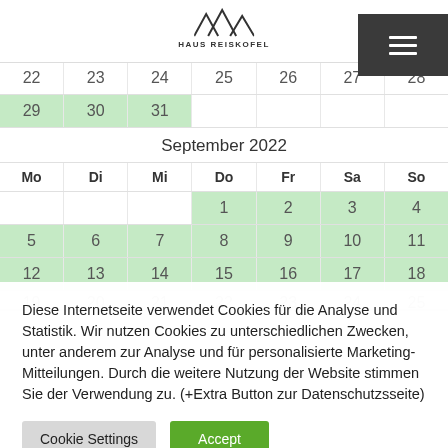[Figure (logo): Haus Reiskofel logo with mountain peaks icon and text HAUS REISKOFEL]
| Mo | Di | Mi | Do | Fr | Sa | So |
| --- | --- | --- | --- | --- | --- | --- |
| 22 | 23 | 24 | 25 | 26 | 27 | 28 |
| 29 | 30 | 31 |  |  |  |  |
| September 2022 |  |  |  |  |  |  |
| Mo | Di | Mi | Do | Fr | Sa | So |
|  |  |  | 1 | 2 | 3 | 4 |
| 5 | 6 | 7 | 8 | 9 | 10 | 11 |
| 12 | 13 | 14 | 15 | 16 | 17 | 18 |
| 19 | 20 | 21 | 22 | 23 | 24 | 25 |
Diese Internetseite verwendet Cookies für die Analyse und Statistik. Wir nutzen Cookies zu unterschiedlichen Zwecken, unter anderem zur Analyse und für personalisierte Marketing-Mitteilungen. Durch die weitere Nutzung der Website stimmen Sie der Verwendung zu. (+Extra Button zur Datenschutzsseite)